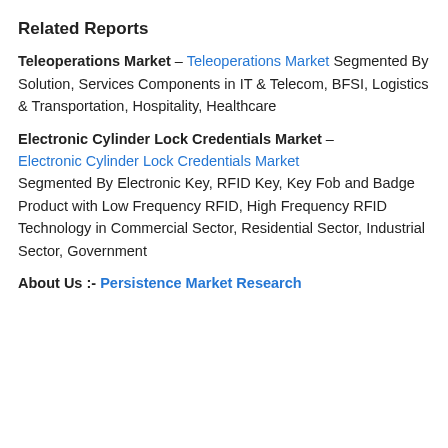Related Reports
Teleoperations Market – Teleoperations Market Segmented By Solution, Services Components in IT & Telecom, BFSI, Logistics & Transportation, Hospitality, Healthcare
Electronic Cylinder Lock Credentials Market – Electronic Cylinder Lock Credentials Market Segmented By Electronic Key, RFID Key, Key Fob and Badge Product with Low Frequency RFID, High Frequency RFID Technology in Commercial Sector, Residential Sector, Industrial Sector, Government
About Us :- Persistence Market Research